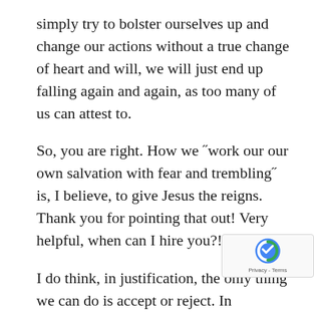simply try to bolster ourselves up and change our actions without a true change of heart and will, we will just end up falling again and again, as too many of us can attest to.
So, you are right. How we "work our our own salvation with fear and trembling" is, I believe, to give Jesus the reigns. Thank you for pointing that out! Very helpful, when can I hire you?! =)
I do think, in justification, the only thing we can do is accept or reject. In sanctification though, I think we must surrender our will. Maybe that is the same thing as accepting Jesus' work in our lives though, what do you think? Same idea, different word? We may have to surrender our will often, by the way, even on the same temptation, if it still comes around. But I believe t... part of the power of choice that God gave us. If He... doesn't let us still have the choice to choose our s... then we are not free. He's controling us. Our part is to...